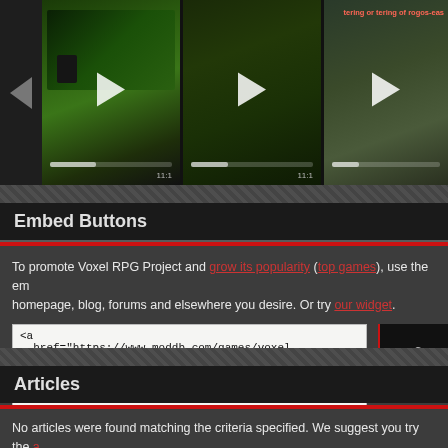[Figure (screenshot): Video thumbnail strip showing game footage with play buttons, navigation arrow on the left, three video thumbnails of a voxel RPG game with green foliage environments]
Embed Buttons
To promote Voxel RPG Project and grow its popularity (top games), use the embed code on your homepage, blog, forums and elsewhere you desire. Or try our widget.
<a href="https://www.moddb.com/games/voxel-rpg-project" title="View Voxel RPG
<a href="https://www.moddb.com/games/voxel-rpg-project" title="View Voxel RPG
Articles
No articles were found matching the criteria specified. We suggest you try the article list to browse all available. Post article and help us achieve our mission of showcasing the best content from all developers. Join now to share your own content, we welcome creators and co